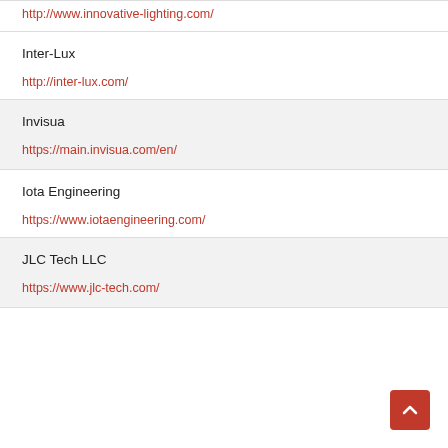http://www.innovative-lighting.com/
Inter-Lux
http://inter-lux.com/
Invisua
https://main.invisua.com/en/
Iota Engineering
https://www.iotaengineering.com/
JLC Tech LLC
https://www.jlc-tech.com/